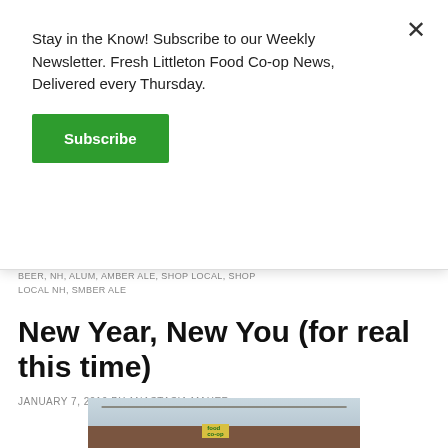Stay in the Know! Subscribe to our Weekly Newsletter. Fresh Littleton Food Co-op News, Delivered every Thursday.
Subscribe
BEER, NH, ALUM, AMBER ALE, SHOP LOCAL, SHOP LOCAL NH, SMBER ALE
New Year, New You (for real this time)
JANUARY 7, 2019 BY ANASTASIA MAHER
[Figure (photo): Exterior photo of Littleton Food Co-op building showing the food co-op sign on a brown building with cloudy sky background]